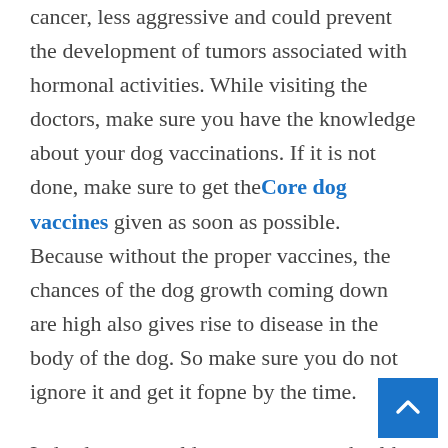cancer, less aggressive and could prevent the development of tumors associated with hormonal activities. While visiting the doctors, make sure you have the knowledge about your dog vaccinations. If it is not done, make sure to get the Core dog vaccines given as soon as possible. Because without the proper vaccines, the chances of the dog growth coming down are high also gives rise to disease in the body of the dog. So make sure you do not ignore it and get it fopne by the time.
Indeed, a vet could answer your pet health questions and could provide you with knowledge about certain diseases dogs can get. The cost of genetic dog testing must not as well be a problem with availing puppy health insurance as